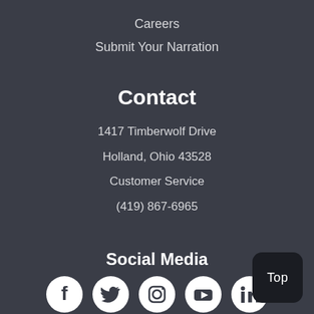Careers
Submit Your Narration
Contact
1417 Timberwolf Drive
Holland, Ohio 43528
Customer Service
(419) 867-6965
Social Media
[Figure (other): Social media icons: Facebook, Twitter, Instagram, YouTube, LinkedIn]
Top